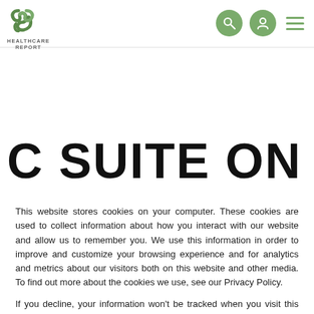[Figure (logo): Healthcare Report logo - green knotted ribbon icon with text HEALTHCARE REPORT below]
C SUITE ON DECK
This website stores cookies on your computer. These cookies are used to collect information about how you interact with our website and allow us to remember you. We use this information in order to improve and customize your browsing experience and for analytics and metrics about our visitors both on this website and other media. To find out more about the cookies we use, see our Privacy Policy.
If you decline, your information won't be tracked when you visit this website. A single cookie will be used in your browser to remember your preference not to be tracked.